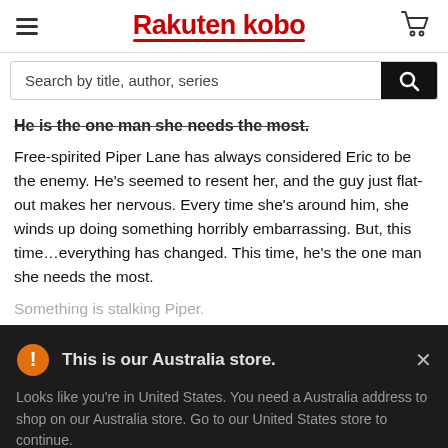[Figure (logo): Rakuten Kobo logo with hamburger menu icon on left and shopping cart icon on right]
[Figure (screenshot): Search bar with placeholder text 'Search by title, author, series' and black search button]
He is the one man she needs the most.
Free-spirited Piper Lane has always considered Eric to be the enemy. He’s seemed to resent her, and the guy just flat-out makes her nervous. Every time she’s around him, she winds up doing something horribly embarrassing. But, this time…everything has changed. This time, he’s the one man she needs the most.
Something is stalking Piper.
This is our Australia store.
Looks like you're in United States. You need a Australia address to shop on our Australia store. Go to our United States store to continue.
Go to United States Store
Choose another store